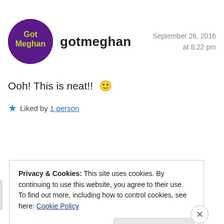[Figure (logo): Round purple avatar circle with yellow-green text 'Got Meghan']
gotmeghan
September 26, 2016 at 8:22 pm
Ooh! This is neat!! 🙂
★ Liked by 1 person
Privacy & Cookies: This site uses cookies. By continuing to use this website, you agree to their use.
To find out more, including how to control cookies, see here: Cookie Policy
Close and accept